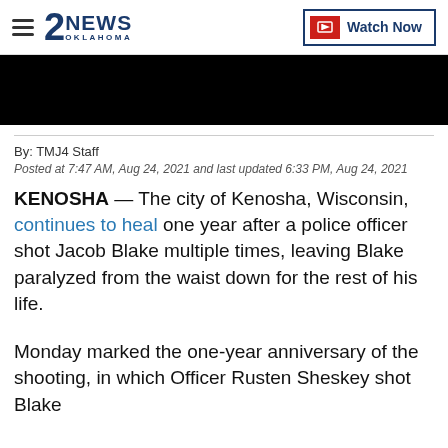2NEWS OKLAHOMA — Watch Now
[Figure (screenshot): Black video placeholder rectangle]
By: TMJ4 Staff
Posted at 7:47 AM, Aug 24, 2021 and last updated 6:33 PM, Aug 24, 2021
KENOSHA — The city of Kenosha, Wisconsin, continues to heal one year after a police officer shot Jacob Blake multiple times, leaving Blake paralyzed from the waist down for the rest of his life.
Monday marked the one-year anniversary of the shooting, in which Officer Rusten Sheskey shot Blake